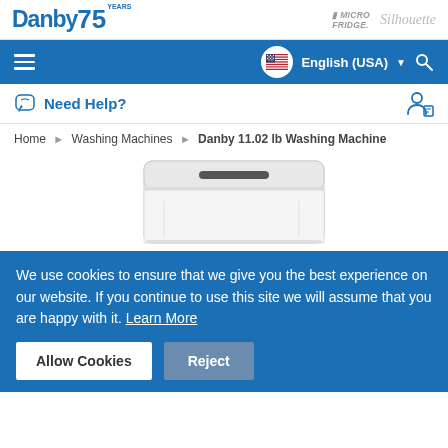Danby 75 Years | Micro Fridge | Silhouette
English (USA)
Need Help?
Home › Washing Machines › Danby 11.02 lb Washing Machine
[Figure (photo): White top-load portable washing machine by Danby, viewed from above at slight angle, showing lid and control panel]
We use cookies to ensure that we give you the best experience on our website. If you continue to use this site we will assume that you are happy with it. Learn More
Allow Cookies
Reject